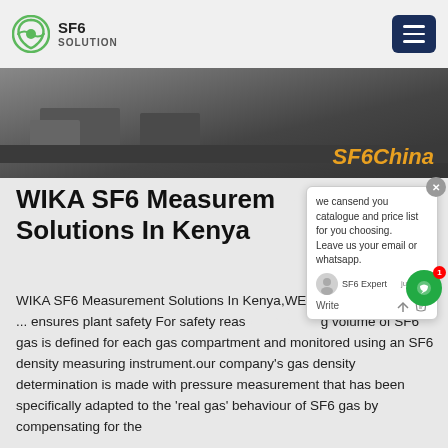SF6 SOLUTION
[Figure (photo): Hero banner image with dark background showing a warehouse/factory scene, with orange italic text 'SF6China' in the bottom right.]
WIKA SF6 Measurement Solutions In Kenya
WIKA SF6 Measurement Solutions In Kenya,WEgrid Products – SF6 ... ensures plant safety For safety reasons, the filling volume of SF6 gas is defined for each gas compartment and monitored using an SF6 density measuring instrument.our company's gas density determination is made with pressure measurement that has been specifically adapted to the 'real gas' behaviour of SF6 gas by compensating for the